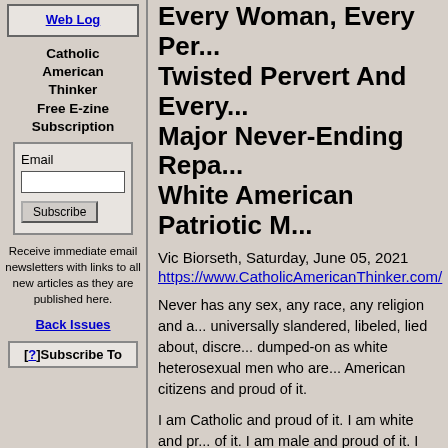Web Log
Catholic American Thinker Free E-zine Subscription
Email [input] Subscribe
Receive immediate email newsletters with links to all new articles as they are published here.
Back Issues
[?]Subscribe To
Every Woman, Every Per... Twisted Pervert And Every... Major Never-Ending Repa... White American Patriotic M...
Vic Biorseth, Saturday, June 05, 2021
https://www.CatholicAmericanThinker.com/
Never has any sex, any race, any religion and a... universally slandered, libeled, lied about, discre... dumped-on as white heterosexual men who are... American citizens and proud of it.
I am Catholic and proud of it. I am white and pr... of it. I am male and proud of it. I am American a...
I yam what I yam, as Popeye once said, and I h... wanna do something about it. The whole world... if they won't give it, we should take it.
All Marxocrat Party politicians, voters, funders,... and future, owe serious reparations to every Ar... was a dirty rotten Marxocrat.
The always racist, always anti-American Marxo...